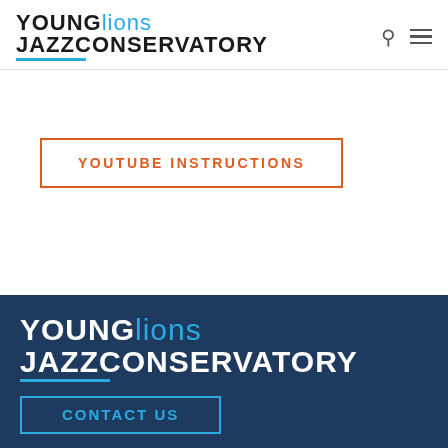YOUNG lions JAZZ CONSERVATORY
YOUTUBE INSTRUCTIONS
[Figure (logo): Young Lions Jazz Conservatory logo in white on dark navy background, with blue underline accent]
CONTACT US